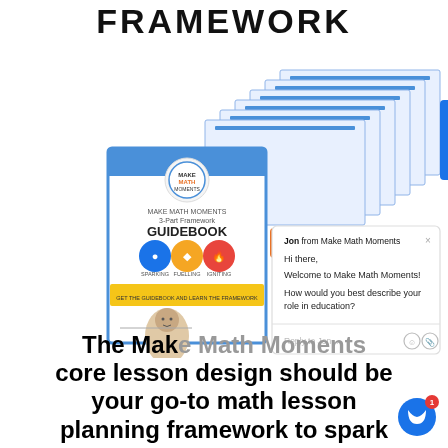FRAMEWORK
[Figure (illustration): Make Math Moments 3-Part Framework Guidebook cover and stacked document pages, with a chat popup overlay from 'Jon from Make Math Moments' saying 'Hi there, Welcome to Make Math Moments! How would you best describe your role in education?' with a reply input field.]
The Make Math Moments core lesson design should be your go-to math lesson planning framework to spark